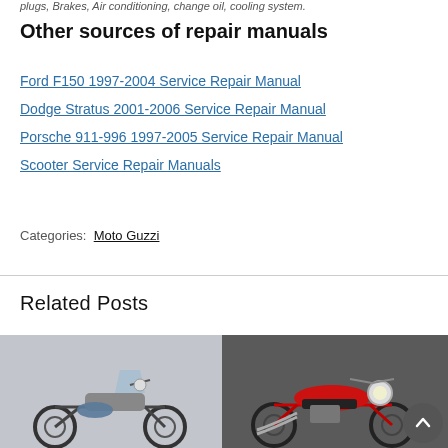plugs, Brakes, Air conditioning, change oil, cooling system.
Other sources of repair manuals
Ford F150 1997-2004 Service Repair Manual
Dodge Stratus 2001-2006 Service Repair Manual
Porsche 911-996 1997-2005 Service Repair Manual
Scooter Service Repair Manuals
Categories: Moto Guzzi
Related Posts
[Figure (photo): Grey motorcycle (adventure/touring style) photo]
[Figure (photo): Red vintage Moto Guzzi motorcycle photo]